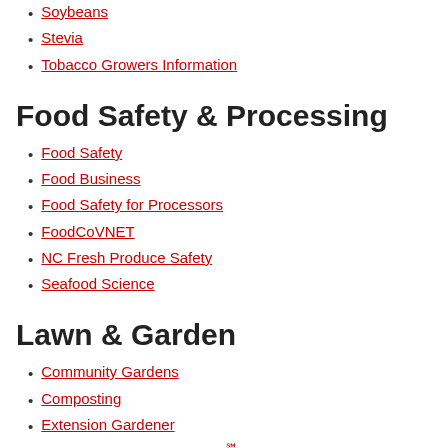Soybeans
Stevia
Tobacco Growers Information
Food Safety & Processing
Food Safety
Food Business
Food Safety for Processors
FoodCoVNET
NC Fresh Produce Safety
Seafood Science
Lawn & Garden
Community Gardens
Composting
Extension Gardener
Extension Master Gardener℠ Volunteers
Gardening
Horticulture
TurfFiles